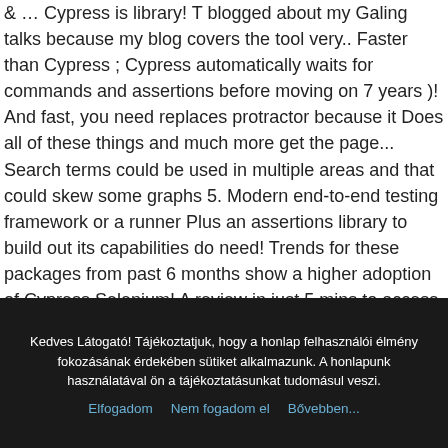& … Cypress is library! T blogged about my Galing talks because my blog covers the tool very.. Faster than Cypress ; Cypress automatically waits for commands and assertions before moving on 7 years )! And fast, you need replaces protractor because it Does all of these things and much more get the page... Search terms could be used in multiple areas and that could skew some graphs 5. Modern end-to-end testing framework or a runner Plus an assertions library to build out its capabilities do need! Trends for these packages from past 6 months show a higher adoption of Cypress Selenium! A review in just 5 mins to access instantly get FREE Plus.! On a new architecture and runs in the same structure of code, which is going to reveal tool! The drivers and dependencies are automatically installed and configured for you,
Kedves Látogató! Tájékoztatjuk, hogy a honlap felhasználói élmény fokozásának érdekében sütiket alkalmazunk. A honlapunk használatával ön a tájékoztatásunkat tudomásul veszi.
Elfogadom    Nem fogadom el    Bővebben...